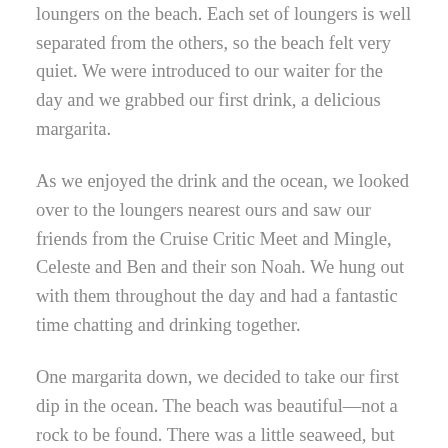loungers on the beach. Each set of loungers is well separated from the others, so the beach felt very quiet. We were introduced to our waiter for the day and we grabbed our first drink, a delicious margarita.
As we enjoyed the drink and the ocean, we looked over to the loungers nearest ours and saw our friends from the Cruise Critic Meet and Mingle, Celeste and Ben and their son Noah. We hung out with them throughout the day and had a fantastic time chatting and drinking together.
One margarita down, we decided to take our first dip in the ocean. The beach was beautiful—not a rock to be found. There was a little seaweed, but nothing too unpleasant.
After about twenty minutes of swimming in the ocean, we headed over to the pool where I fulfilled a life-long